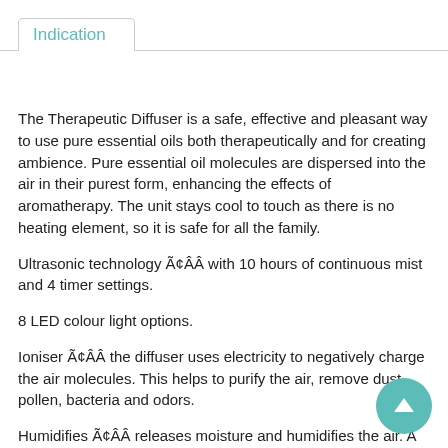Indication
The Therapeutic Diffuser is a safe, effective and pleasant way to use pure essential oils both therapeutically and for creating ambience. Pure essential oil molecules are dispersed into the air in their purest form, enhancing the effects of aromatherapy. The unit stays cool to touch as there is no heating element, so it is safe for all the family.
Ultrasonic technology Ã¢ÂÂ with 10 hours of continuous mist and 4 timer settings.
8 LED colour light options.
Ioniser Ã¢ÂÂ the diffuser uses electricity to negatively charge the air molecules. This helps to purify the air, remove dust, pollen, bacteria and odors.
Humidifies Ã¢ÂÂ releases moisture and humidifies the air. A solution for both hot and dry air during summer or winter when the heating is turned on.
Auto Shut Off Ã¢ÂÂ an important safety feature, once all the water in the tank has evaporated, the diffuser will